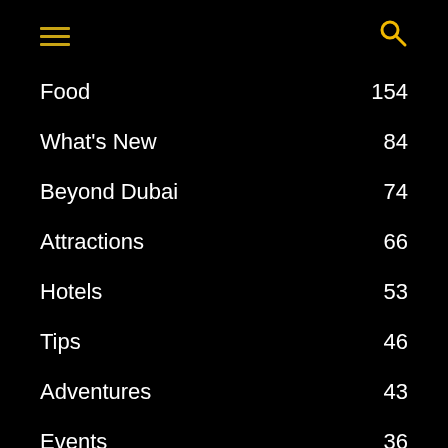Navigation menu with hamburger icon and search icon
Food 154
What's New 84
Beyond Dubai 74
Attractions 66
Hotels 53
Tips 46
Adventures 43
Events 36
Other Emirates 32
About  Contact  Contribute  Disclosure Policy  Privacy Policy  © DubaiTravelBlog.com